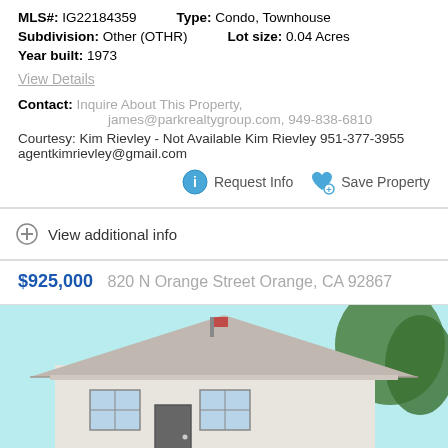MLS#: IG22184359   Type: Condo, Townhouse
Subdivision: Other (OTHR)   Lot size: 0.04 Acres
Year built: 1973
View Details
Contact: Inquire About This Property, james@parkrealtygroup.com, 949-838-6810
Courtesy: Kim Rievley - Not Available Kim Rievley 951-377-3955 agentkimrievley@gmail.com
Request Info   Save Property
View additional info
$925,000   820 N Orange Street Orange, CA 92867
[Figure (photo): Exterior photo of a single-story house with a gray roof, white siding, under a light blue sky with trees visible on the right side.]